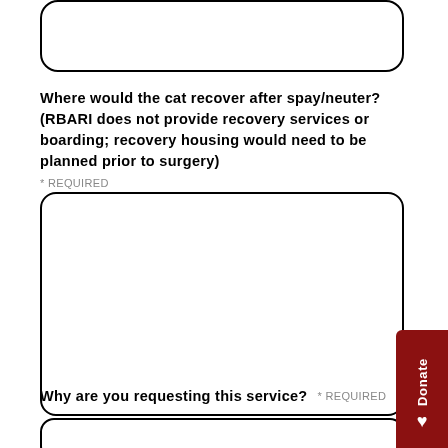[Input box - top partial]
Where would the cat recover after spay/neuter? (RBARI does not provide recovery services or boarding; recovery housing would need to be planned prior to surgery)
* REQUIRED
[Large text input area]
Why are you requesting this service?  * REQUIRED
[Bottom input box - partial]